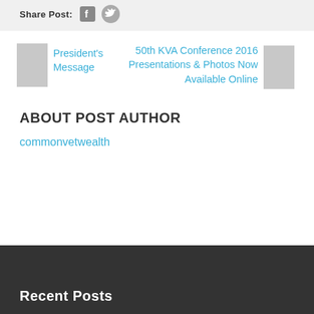Share Post:
President's Message
50th KVA Conference 2016 Presentations & Photos Now Available Online
ABOUT POST AUTHOR
commonvetwealth
Recent Posts